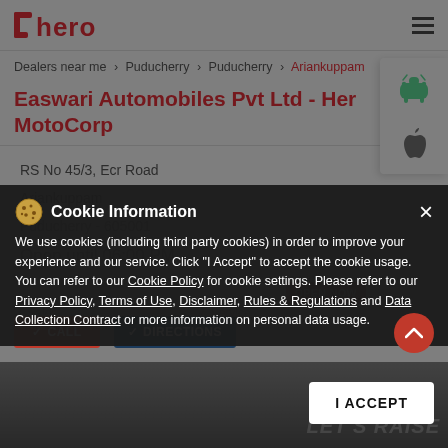Hero MotoCorp (logo, partially cut off)
Dealers near me > Puducherry > Puducherry > Ariankuppam
Easwari Automobiles Pvt Ltd - Hero MotoCorp
RS No 45/3, Ecr Road
Ariankuppam
Puducherry - 605001
Open until 06:00 PM
Cookie Information
We use cookies (including third party cookies) in order to improve your experience and our service. Click "I Accept" to accept the cookie usage. You can refer to our Cookie Policy for cookie settings. Please refer to our Privacy Policy, Terms of Use, Disclaimer, Rules & Regulations and Data Collection Contract or more information on personal data usage.